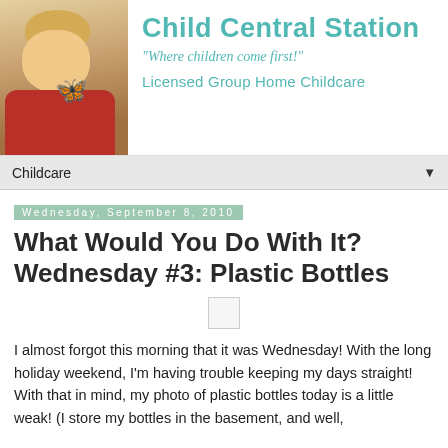[Figure (illustration): Child Central Station website banner with photo of young child holding a monarch butterfly, site title and tagline]
Childcare
Wednesday, September 8, 2010
What Would You Do With It? Wednesday #3: Plastic Bottles
[Figure (photo): Small placeholder image thumbnail]
I almost forgot this morning that it was Wednesday! With the long holiday weekend, I'm having trouble keeping my days straight! With that in mind, my photo of plastic bottles today is a little weak! (I store my bottles in the basement, and well,